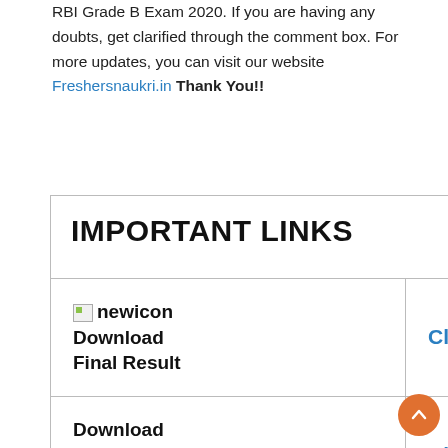RBI Grade B Exam 2020. If you are having any doubts, get clarified through the comment box. For more updates, you can visit our website Freshersnaukri.in Thank You!!
| IMPORTANT LINKS |  |
| --- | --- |
| [newicon] Download Final Result | Click Here |
| Download Phase II Result | Click Here |
| Download Phase I | Click Here |